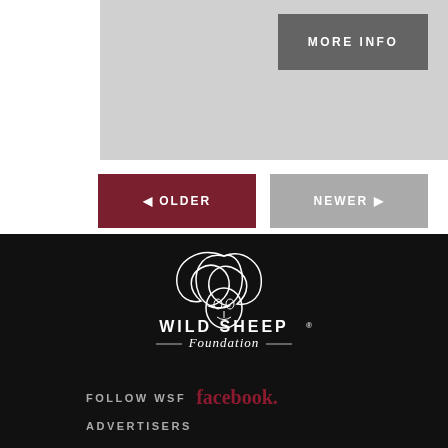[Figure (other): Gray banner image placeholder area]
MORE INFO
◄ OLDER
NEWER ►
[Figure (logo): Wild Sheep Foundation logo with ram illustration, text reads WILD SHEEP Foundation]
FOLLOW WSF facebook.
ADVERTISERS